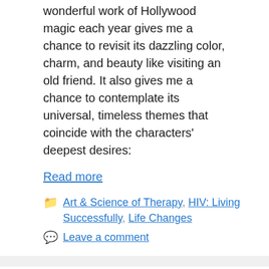wonderful work of Hollywood magic each year gives me a chance to revisit its dazzling color, charm, and beauty like visiting an old friend. It also gives me a chance to contemplate its universal, timeless themes that coincide with the characters' deepest desires:
Read more
Art & Science of Therapy, HIV: Living Successfully, Life Changes
Leave a comment
Express Yourself, Part II